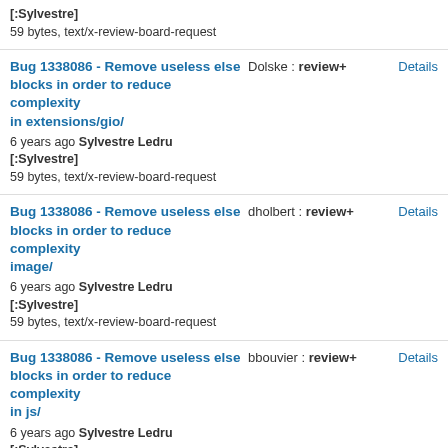[:Sylvestre]
59 bytes, text/x-review-board-request
Bug 1338086 - Remove useless else blocks in order to reduce complexity in extensions/gio/ | 6 years ago Sylvestre Ledru [:Sylvestre] | 59 bytes, text/x-review-board-request | Dolske : review+ | Details
Bug 1338086 - Remove useless else blocks in order to reduce complexity image/ | 6 years ago Sylvestre Ledru [:Sylvestre] | 59 bytes, text/x-review-board-request | dholbert : review+ | Details
Bug 1338086 - Remove useless else blocks in order to reduce complexity in js/ | 6 years ago Sylvestre Ledru [:Sylvestre] | 59 bytes, text/x-review-board-request | bbouvier : review+ | Details
Bug 1338086 - Remove useless else blocks in order to reduce complexity in layout/ | 6 years ago Sylvestre Ledru | heycam : review+ | Details